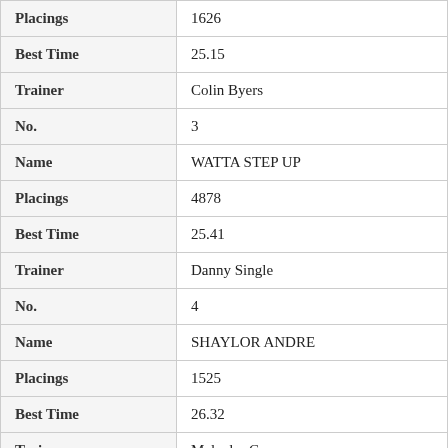| Field | Value |
| --- | --- |
| Placings | 1626 |
| Best Time | 25.15 |
| Trainer | Colin Byers |
| No. | 3 |
| Name | WATTA STEP UP |
| Placings | 4878 |
| Best Time | 25.41 |
| Trainer | Danny Single |
| No. | 4 |
| Name | SHAYLOR ANDRE |
| Placings | 1525 |
| Best Time | 26.32 |
| Trainer | Malcolm Cuneo |
| No. | 5 |
| Name | TITLE |
| Placings | 5151 |
| Best Time | 25.35 |